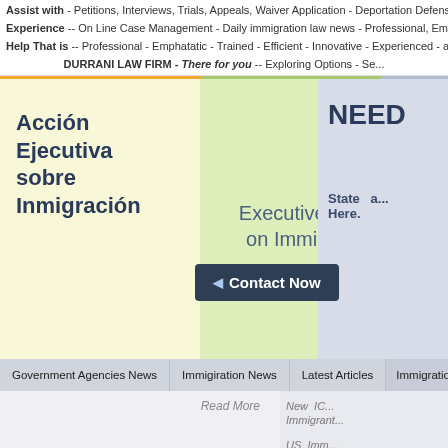Assist with - Petitions, Interviews, Trials, Appeals, Waiver Application - Deportation Defense - Visa, Green-ca...
Experience -- On Line Case Management - Daily immigration law news - Professional, Empathetic, Trained
Help That is -- Professional - Emphatatic - Trained - Efficient - Innovative - Experienced - acccessible - Esatab...
DURRANI LAW FIRM - There for you -- Exploring Options - Se...
Acción Ejecutiva sobre Inmigración
Executive Action on Immigration
NEED
Contact Now
State a... Here.
Government Agencies News
Immigiration News
Latest Articles
Immigratio...
Read More
New IC... Immigrant...
US Imm... Petitions